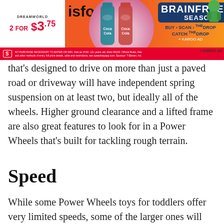[Figure (other): Speedway advertisement banner featuring Coca-Cola Dreamworld limited edition flavor bottles, Brainfreeze Season promotion with Buy Scan Catch the Drop offer, priced 2 for $3.75, KARGO AD label]
that's designed to drive on more than just a paved road or driveway will have independent spring suspension on at least two, but ideally all of the wheels. Higher ground clearance and a lifted frame are also great features to look for in a Power Wheels that's built for tackling rough terrain.
Speed
While some Power Wheels toys for toddlers offer very limited speeds, some of the larger ones will have a top speed of 5-7 mph, which will let you get a little more gumption when it comes to rolling over hilly, uneven, or wet ground. The best of both worlds would be a ride-on toy that offers a